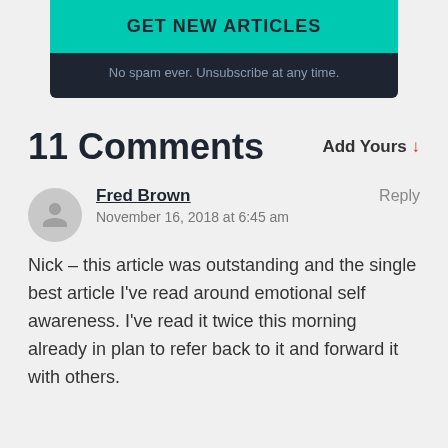GET NEW ARTICLES
No spam ever. Unsubscribe at any time.
11 Comments
Add Yours ↓
Fred Brown
November 16, 2018 at 6:45 am
Reply
Nick – this article was outstanding and the single best article I've read around emotional self awareness. I've read it twice this morning already in plan to refer back to it and forward it with others.